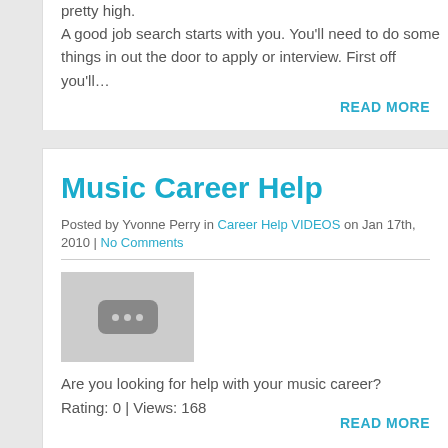pretty high.
A good job search starts with you. You'll need to do some things in out the door to apply or interview. First off you'll…
READ MORE
Music Career Help
Posted by Yvonne Perry in Career Help VIDEOS on Jan 17th, 2010 | No Comments
[Figure (screenshot): Video thumbnail placeholder with three dots icon on grey background]
Are you looking for help with your music career?
Rating: 0 | Views: 168
READ MORE